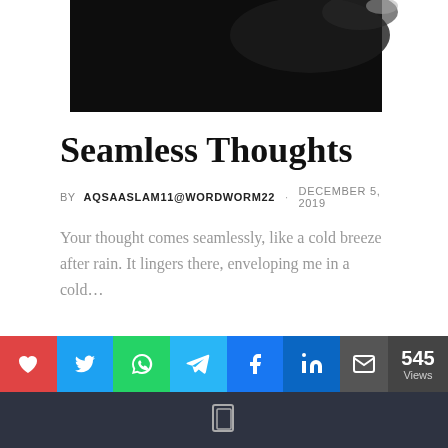[Figure (photo): Dark hero image strip at the top of the blog post page, appearing mostly black with slight light in upper right corner.]
Seamless Thoughts
BY AQSAASLAM11@WORDWORM22 · DECEMBER 5, 2019
Your thought comes seamlessly, like a cold breeze after rain. It lingers there, enveloping me in a cold...
Privacy & Cookies: This site uses cookies. By continuing to use this website, you agree to their use. To find out more, including privacy and
[Figure (infographic): Social share buttons bar: heart (red), Twitter (blue), WhatsApp (green), Telegram (light blue), Facebook (blue), LinkedIn (dark blue), email (gray). Views count 545 Views on right dark box.]